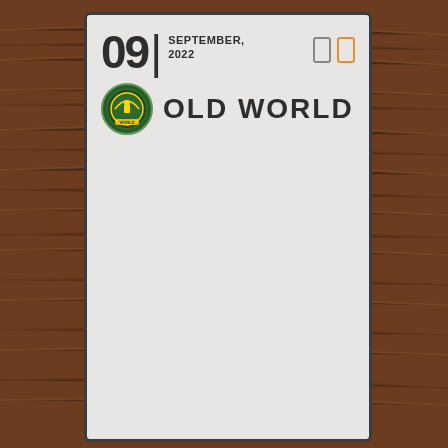09 | SEPTEMBER, 2022
OLD WORLD
[Figure (logo): Circular green and gold logo badge for Old World brand]